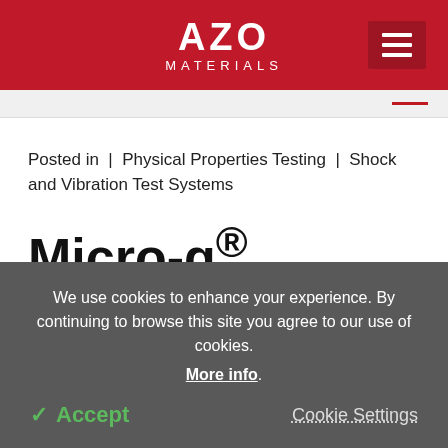AZO MATERIALS
Posted in | Physical Properties Testing | Shock and Vibration Test Systems
Micro-g® Isolaters for
We use cookies to enhance your experience. By continuing to browse this site you agree to our use of cookies. More info.
✓ Accept   Cookie Settings